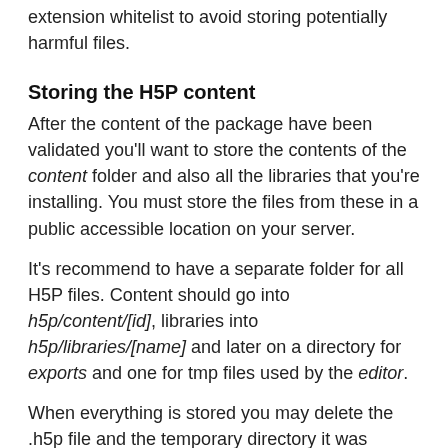extension whitelist to avoid storing potentially harmful files.
Storing the H5P content
After the content of the package have been validated you'll want to store the contents of the content folder and also all the libraries that you're installing. You must store the files from these in a public accessible location on your server.
It's recommend to have a separate folder for all H5P files. Content should go into h5p/content/[id], libraries into h5p/libraries/[name] and later on a directory for exports and one for tmp files used by the editor.
When everything is stored you may delete the .h5p file and the temporary directory it was extracted into.